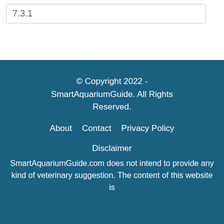7.3.1
© Copyright 2022 - SmartAquariumGuide. All Rights Reserved.
About   Contact   Privacy Policy
Disclaimer
SmartAquariumGuide.com does not intend to provide any kind of veterinary suggestion. The content of this website is